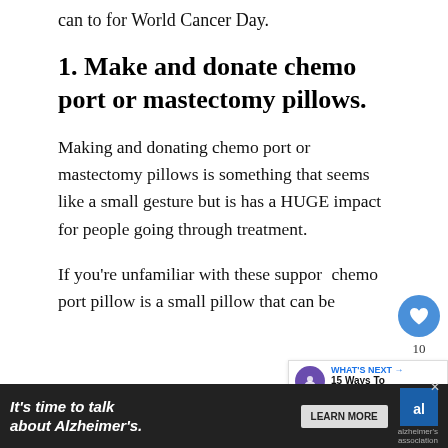can to for World Cancer Day.
1. Make and donate chemo port or mastectomy pillows.
Making and donating chemo port or mastectomy pillows is something that seems like a small gesture but is has a HUGE impact for people going through treatment.
If you're unfamiliar with these support chemo port pillow is a small pillow that can be
[Figure (screenshot): Like button with count 10 and share button on right sidebar]
[Figure (screenshot): What's Next banner: 15 Ways To Honor World...]
[Figure (screenshot): Advertisement banner: It's time to talk about Alzheimer's. with Learn More button and Alzheimer's Association logo]